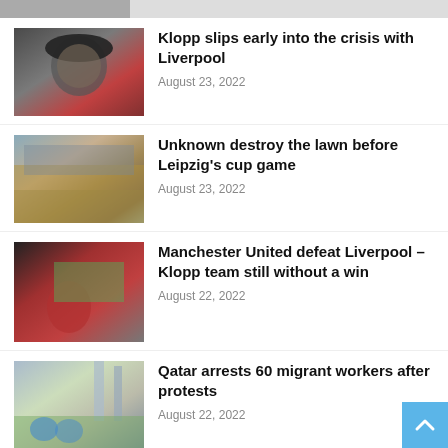[Figure (photo): Partial top strip showing previous article thumbnail]
[Figure (photo): Photo of Jürgen Klopp wearing a black cap, looking sideways]
Klopp slips early into the crisis with Liverpool
August 23, 2022
[Figure (photo): Photo of a damaged football pitch/lawn at a stadium]
Unknown destroy the lawn before Leipzig's cup game
August 23, 2022
[Figure (photo): Photo of a Manchester United player kneeling on the pitch]
Manchester United defeat Liverpool – Klopp team still without a win
August 22, 2022
[Figure (photo): Photo of construction workers with cranes in background]
Qatar arrests 60 migrant workers after protests
August 22, 2022